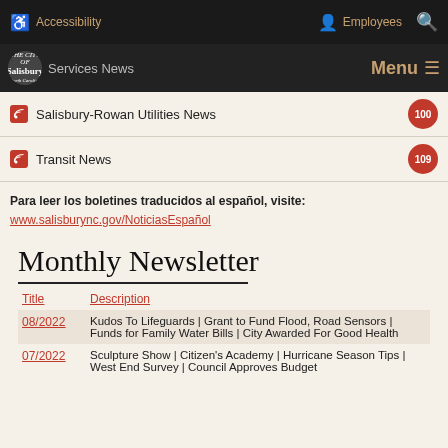Accessibility | Employees | Search
The City of Salisbury | Services News | Menu
Salisbury-Rowan Utilities News  100
Transit News  109
Para leer los boletines traducidos al español, visite:
www.salisburync.gov/NoticiasEspañol
Monthly Newsletter
| Title | Description |
| --- | --- |
| 08/2022 | Kudos To Lifeguards | Grant to Fund Flood, Road Sensors | Funds for Family Water Bills | City Awarded For Good Health |
| 07/2022 | Sculpture Show | Citizen's Academy | Hurricane Season Tips | West End Survey | Council Approves Budget |